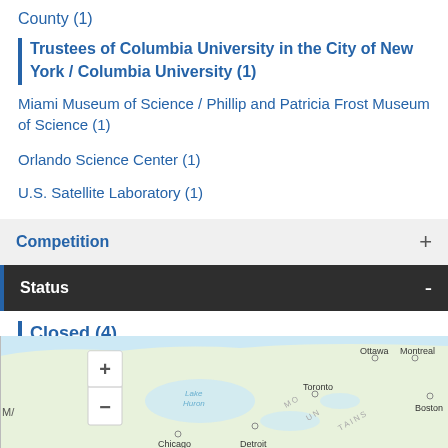County (1)
Trustees of Columbia University in the City of New York / Columbia University (1)
Miami Museum of Science / Phillip and Patricia Frost Museum of Science (1)
Orlando Science Center (1)
U.S. Satellite Laboratory (1)
Competition +
Status -
Closed (4)
[Figure (map): Interactive map showing northeastern North America including cities Ottawa, Montreal, Toronto, Chicago, Detroit, Boston and geographic features Lake Huron, with zoom controls (+/-)]